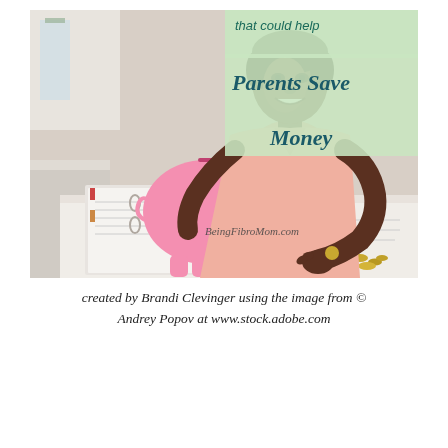[Figure (photo): A Black woman smiling and putting a coin into a pink piggy bank wearing glasses. She sits at a desk with a binder, calculator, coins, and papers. Text overlay in top-right reads 'that could help Parents Save Money' in teal/dark teal on a light green background. Watermark: BeingFibroMom.com]
created by Brandi Clevinger using the image from © Andrey Popov at www.stock.adobe.com